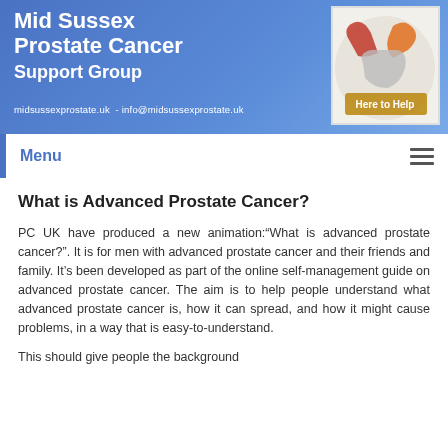Mid Sussex Prostate Cancer Support Group
midsussexprostate.uk - info@midsussexprostate.uk
[Figure (logo): Here to Help logo with hands in red, orange, and grey on white background]
Menu
What is Advanced Prostate Cancer?
PC UK have produced a new animation:“What is advanced prostate cancer?”. It is for men with advanced prostate cancer and their friends and family. It’s been developed as part of the online self-management guide on advanced prostate cancer. The aim is to help people understand what advanced prostate cancer is, how it can spread, and how it might cause problems, in a way that is easy-to-understand.
This should give people the background